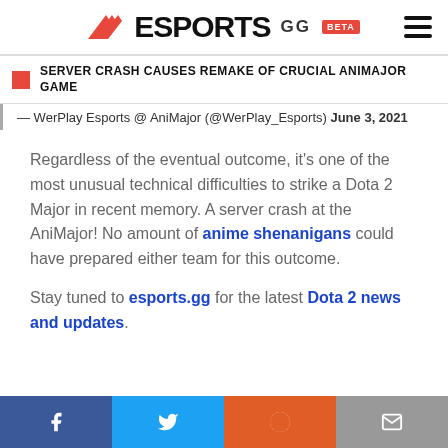ESPORTS.GG BETA
SERVER CRASH CAUSES REMAKE OF CRUCIAL ANIMAJOR GAME
— WerPlay Esports @ AniMajor (@WerPlay_Esports) June 3, 2021
Regardless of the eventual outcome, it's one of the most unusual technical difficulties to strike a Dota 2 Major in recent memory. A server crash at the AniMajor! No amount of anime shenanigans could have prepared either team for this outcome.
Stay tuned to esports.gg for the latest Dota 2 news and updates.
Facebook Twitter Reddit Email